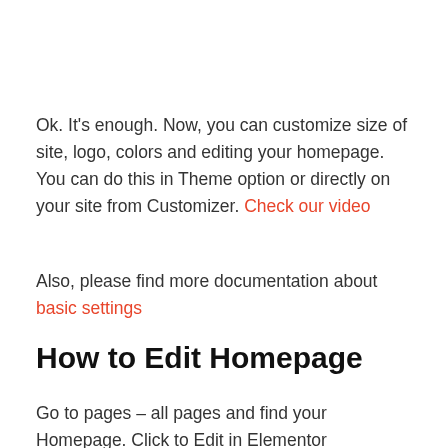Ok. It's enough. Now, you can customize size of site, logo, colors and editing your homepage. You can do this in Theme option or directly on your site from Customizer. Check our video
Also, please find more documentation about basic settings
How to Edit Homepage
Go to pages – all pages and find your Homepage. Click to Edit in Elementor